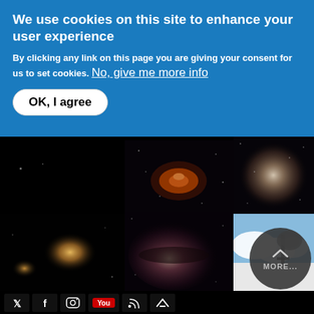We use cookies on this site to enhance your user experience
By clicking any link on this page you are giving your consent for us to set cookies. No, give me more info
OK, I agree
[Figure (photo): Grid of astronomical images showing galaxies and telescope facility on black background, with a circular MORE button overlay in bottom right]
[Figure (screenshot): Social media icon bar at bottom: Twitter/X, Facebook, Instagram, YouTube, RSS, and another icon]